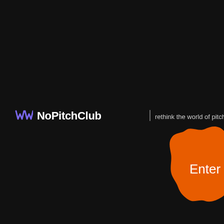[Figure (logo): NoPitchClub logo with purple double-W icon and white bold text 'NoPitchClub' on dark background, with tagline 'rethink the world of pitching']
[Figure (other): Orange wavy badge/seal shape with white text 'Enter' in the center]